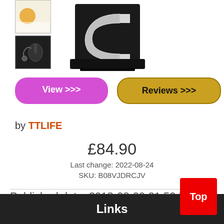[Figure (photo): Product thumbnails: top thumbnail partially visible (orange/warm color), bottom thumbnail showing cable/charger accessory in black. Main image shows a 'C' shaped levitating letter display in black and chrome.]
View >>>
Reviews >>>
by TTLIFE
£84.90
Last change: 2022-08-24
SKU: B08VJDRCJV
Published date: 2018-08-09 21:50:56
Links
Top